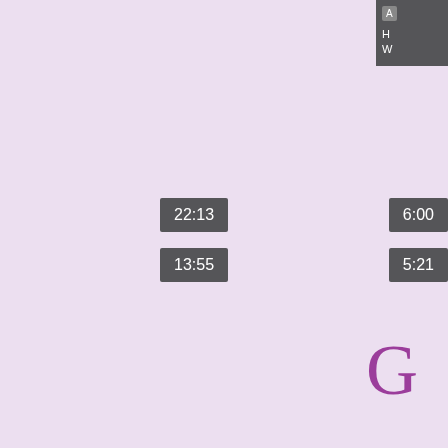[Figure (screenshot): Top-right panel with gray background showing label 'A' and two lines of text starting with 'H' and 'W']
22:13
6:00
13:55
5:21
[Figure (logo): Large purple letter G, Google logo style]